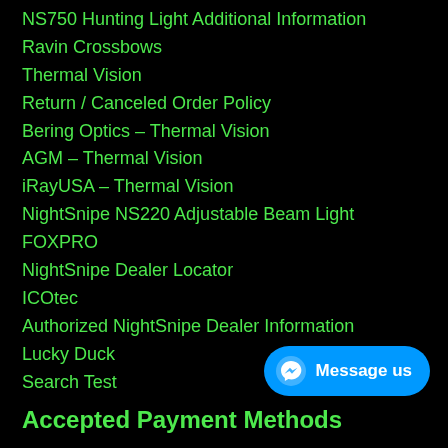NS750 Hunting Light Additional Information
Ravin Crossbows
Thermal Vision
Return / Canceled Order Policy
Bering Optics – Thermal Vision
AGM – Thermal Vision
iRayUSA – Thermal Vision
NightSnipe NS220 Adjustable Beam Light
FOXPRO
NightSnipe Dealer Locator
ICOtec
Authorized NightSnipe Dealer Information
Lucky Duck
Search Test
Accepted Payment Methods